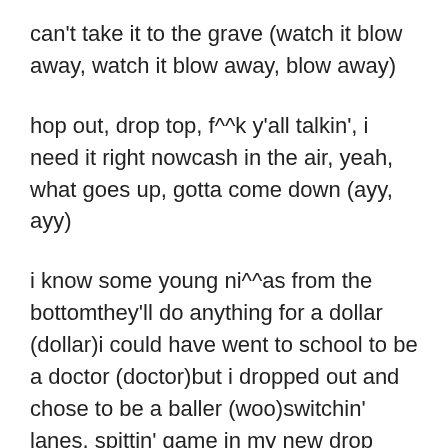can't take it to the grave (watch it blow away, watch it blow away, blow away)
hop out, drop top, f^^k y'all talkin', i need it right nowcash in the air, yeah, what goes up, gotta come down (ayy, ayy)
i know some young ni^^as from the bottomthey'll do anything for a dollar (dollar)i could have went to school to be a doctor (doctor)but i dropped out and chose to be a baller (woo)switchin' lanes, spittin' game in my new drop (drop)still on a paper chase that don't ever stop (never)everybody with me family, that's how we rock (rock, rock)party at